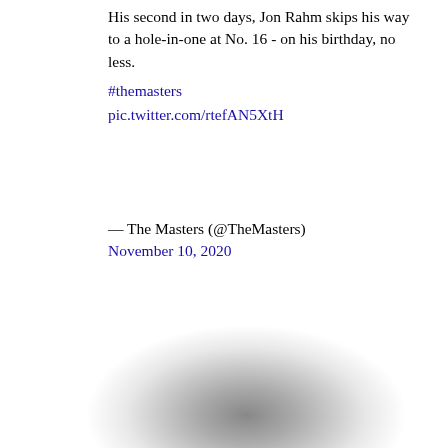His second in two days, Jon Rahm skips his way to a hole-in-one at No. 16 - on his birthday, no less. #themasters pic.twitter.com/rtefAN5XtH
— The Masters (@TheMasters) November 10, 2020
Other top-tier bets
- Rory McIlroy (+1200)
- Justin Thomas (+1200)
- Xander Schauffele (+1400)
- Brooks Koepka (+1600)
[Figure (photo): Blurred circular image at bottom of page]